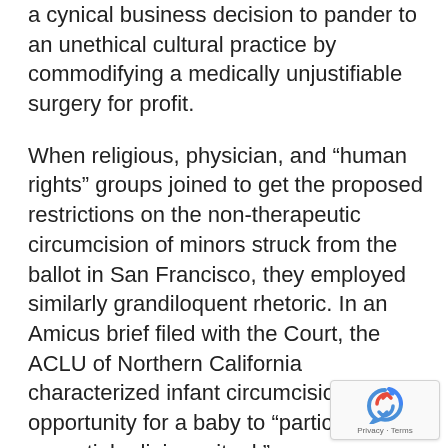a cynical business decision to pander to an unethical cultural practice by commodifying a medically unjustifiable surgery for profit.
When religious, physician, and “human rights” groups joined to get the proposed restrictions on the non-therapeutic circumcision of minors struck from the ballot in San Francisco, they employed similarly grandiloquent rhetoric. In an Amicus brief filed with the Court, the ACLU of Northern California characterized infant circumcision as an opportunity for a baby to “participate in an essential religious ritual.”
Participate. Essential. … aspirational